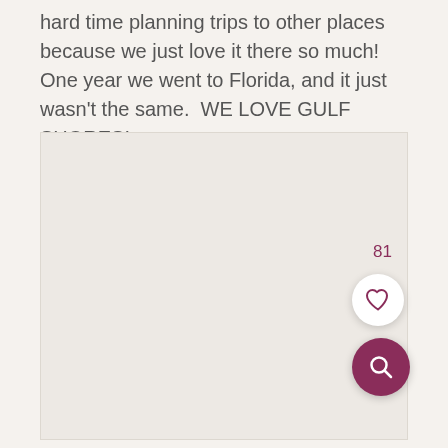hard time planning trips to other places because we just love it there so much!  One year we went to Florida, and it just wasn't the same.  WE LOVE GULF SHORES!
[Figure (photo): Large image placeholder area (light beige/gray rectangle) occupying the lower portion of the page, with a heart/like button (white circle) showing count 81, and a search/magnify button (dark pink/maroon circle) overlaid at bottom right.]